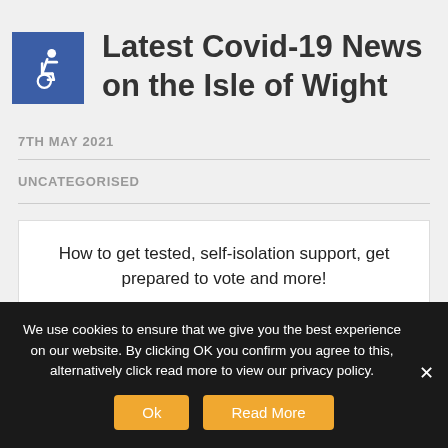[Figure (logo): Blue square with white wheelchair accessibility icon]
Latest Covid-19 News on the Isle of Wight
7TH MAY 2021
UNCATEGORISED
How to get tested, self-isolation support, get prepared to vote and more!
We use cookies to ensure that we give you the best experience on our website. By clicking OK you confirm you agree to this, alternatively click read more to view our privacy policy.